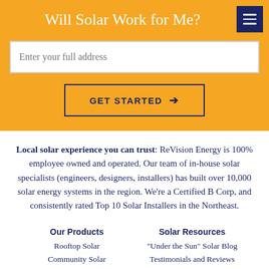Will Solar Work for Me?
Enter your full address
GET STARTED →
Local solar experience you can trust: ReVision Energy is 100% employee owned and operated. Our team of in-house solar specialists (engineers, designers, installers) has built over 10,000 solar energy systems in the region. We're a Certified B Corp, and consistently rated Top 10 Solar Installers in the Northeast.
Our Products
Rooftop Solar
Community Solar
Solar Resources
"Under the Sun" Solar Blog
Testimonials and Reviews